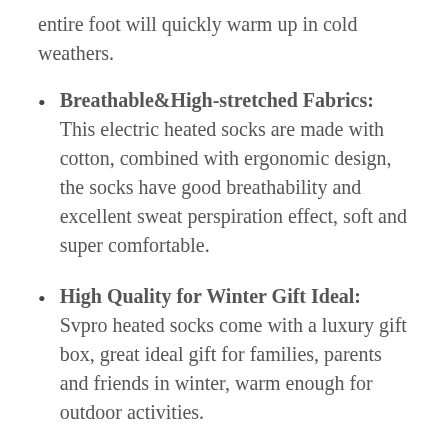entire foot will quickly warm up in cold weathers.
Breathable&High-stretched Fabrics: This electric heated socks are made with cotton, combined with ergonomic design, the socks have good breathability and excellent sweat perspiration effect, soft and super comfortable.
High Quality for Winter Gift Ideal: Svpro heated socks come with a luxury gift box, great ideal gift for families, parents and friends in winter, warm enough for outdoor activities.
2. LEBOO HEATED SOCKS FOR MEN WOMEN